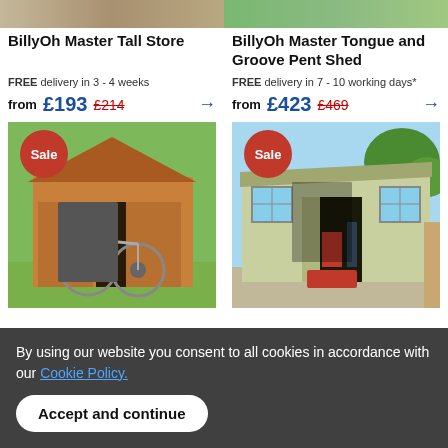BillyOh Master Tall Store
FREE delivery in 3 - 4 weeks
from £193  £214
[Figure (photo): BillyOh Master Tall Store shed with open doors showing a bicycle inside, on a lawn with trees in background]
BillyOh Master Tongue and Groove Pent Shed
FREE delivery in 7 - 10 working days*
from £423  £469
[Figure (photo): BillyOh Master Tongue and Groove Pent Shed with open doors showing tools and equipment inside, on a patio]
By using our website you consent to all cookies in accordance with our Cookie Policy.
Accept and continue